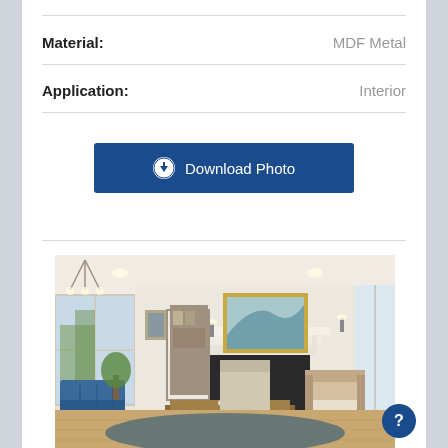Material: MDF Metal
Application: Interior
[Figure (screenshot): Blue Download Photo button with download icon]
[Figure (photo): Interior living room with fireplace, blue tufted chairs, wooden coffee table, artwork above mantle, recessed lighting, and bookshelf in background]